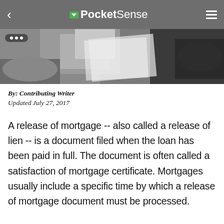< PocketSense ≡
[Figure (photo): Photo of people signing documents at a table, partially visible hands and papers]
By: Contributing Writer
Updated July 27, 2017
A release of mortgage -- also called a release of lien -- is a document filed when the loan has been paid in full. The document is often called a satisfaction of mortgage certificate. Mortgages usually include a specific time by which a release of mortgage document must be processed.